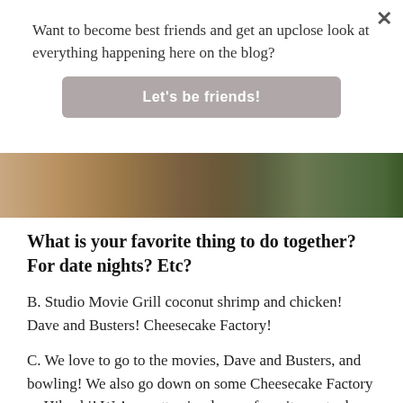Want to become best friends and get an upclose look at everything happening here on the blog?
Let's be friends!
[Figure (photo): A strip photo showing dirt ground with grass visible on the right edge]
What is your favorite thing to do together? For date nights? Etc?
B. Studio Movie Grill coconut shrimp and chicken! Dave and Busters! Cheesecake Factory!
C. We love to go to the movies, Dave and Busters, and bowling! We also go down on some Cheesecake Factory or Hibachi! We’re pretty simple, our favorite spot when we dated was Chilis.